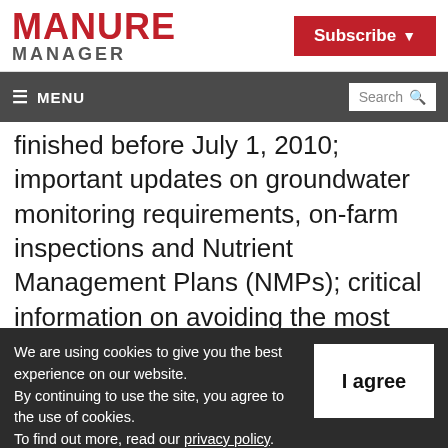MANURE MANAGER
Subscribe
≡ MENU  Search
finished before July 1, 2010; important updates on groundwater monitoring requirements, on-farm inspections and Nutrient Management Plans (NMPs); critical information on avoiding the most common types of WDR violations; and tips on working with outside consultants
We are using cookies to give you the best experience on our website. By continuing to use the site, you agree to the use of cookies. To find out more, read our privacy policy.
I agree